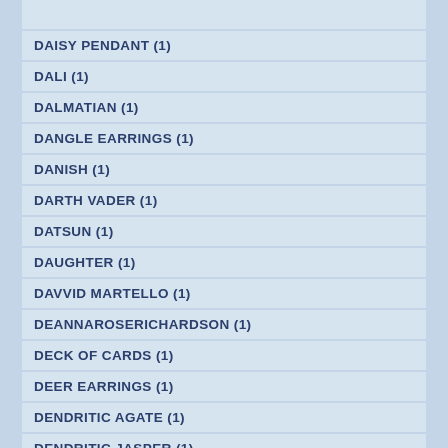(…)
DAISY PENDANT (1)
DALI (1)
DALMATIAN (1)
DANGLE EARRINGS (1)
DANISH (1)
DARTH VADER (1)
DATSUN (1)
DAUGHTER (1)
DAVVID MARTELLO (1)
DEANNAROSERICHARDSON (1)
DECK OF CARDS (1)
DEER EARRINGS (1)
DENDRITIC AGATE (1)
DENDRITIC JASPER (1)
DENDRITIC OPAL (1)
DESERT GARDENING (1)
DESERT STARFISH (1)